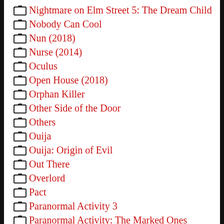Nightmare on Elm Street 5: The Dream Child
Nobody Can Cool
Nun (2018)
Nurse (2014)
Oculus
Open House (2018)
Orphan Killer
Other Side of the Door
Others
Ouija
Ouija: Origin of Evil
Out There
Overlord
Pact
Paranormal Activity 3
Paranormal Activity: The Marked Ones